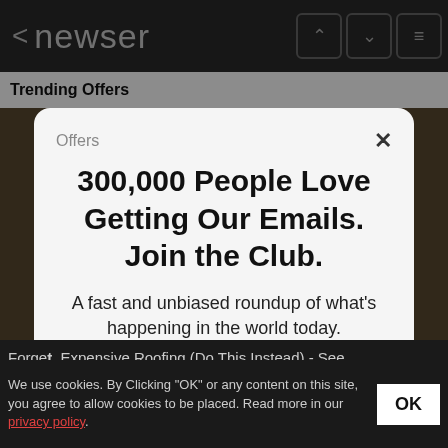< newser
Trending  Offers
300,000 People Love Getting Our Emails. Join the Club.
A fast and unbiased roundup of what's happening in the world today.
your email address  SIGN UP
Forget Expensive Roofing (Do This Instead) - See Options
We use cookies. By Clicking "OK" or any content on this site, you agree to allow cookies to be placed. Read more in our privacy policy.